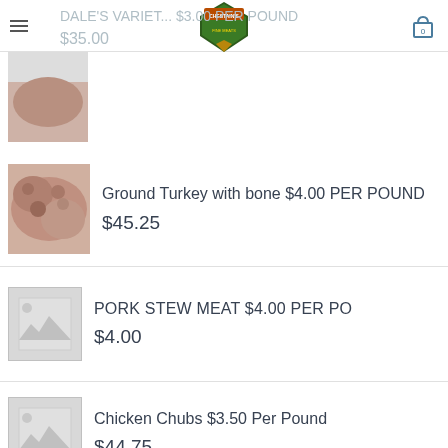DALE'S VARIETY FINE MEATS - Cart 0
DALE'S VARIE... $3.00 PER POUND
$35.00
Ground Turkey with bone $4.00 PER POUND
$45.25
PORK STEW MEAT $4.00 PER PO
$4.00
Chicken Chubs $3.50 Per Pound
$44.75
TOP RATED
Goat Cutting Form